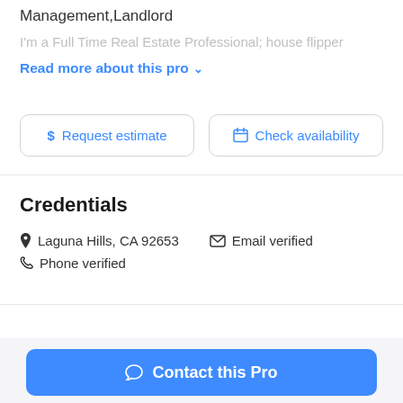Management,Landlord
I'm a Full Time Real Estate Professional; house flipper
Read more about this pro ∨
$ Request estimate
🗓 Check availability
Credentials
📍 Laguna Hills, CA 92653    ✉ Email verified
📞 Phone verified
Contact this Pro